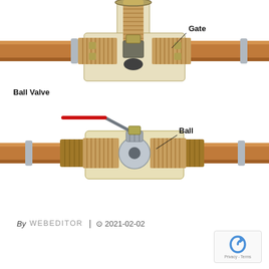[Figure (engineering-diagram): Cross-section comparison of two pipe valves: top image shows a Gate valve installed on a copper pipe with a cutaway view revealing the gate mechanism and threaded connections, labeled 'Gate'. Bottom image shows a Ball Valve on a copper pipe with a cutaway revealing the ball mechanism and a red lever handle, labeled 'Ball'. The lower image is also labeled 'Ball Valve' on the left side.]
By WEBEDITOR | 2021-02-02